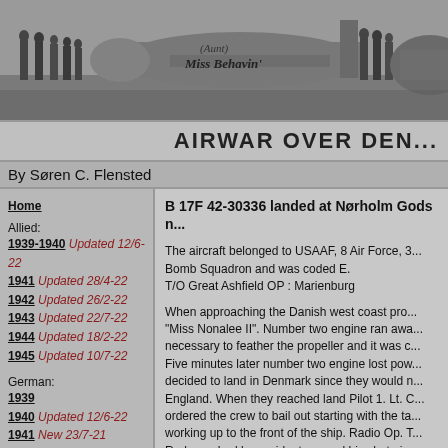[Figure (photo): Black and white banner photo showing WWII airmen walking in front of a B-17 bomber aircraft named 'Miss Behavin', with other aircraft visible on the right.]
AIRWAR OVER DEN...
By Søren C. Flensted
Home
Allied:
1939-1940 Updated 12/6-22
1941 Updated 28/4-22
1942 Updated 26/2-22
1943 Updated 22/7-22
1944 Updated 18/2-22
1945 Updated 10/7-22
German:
1939
1940 Updated 12/6-22
1941 New 23/7-21
1942 Updated 12/6-22
1943 New 22/7-22
1944 Updated 28/7-22
1945 Updated 16/8-21
B 17F 42-30336 landed at Nørholm Gods n...
The aircraft belonged to USAAF, 8 Air Force, 3... Bomb Squadron and was coded E.
T/O Great Ashfield OP : Marienburg
When approaching the Danish west coast pro... "Miss Nonalee II". Number two engine ran awa... necessary to feather the propeller and it was c... Five minutes later number two engine lost pow... decided to land in Denmark since they would n... England. When they reached land Pilot 1. Lt. C... ordered the crew to bail out starting with the ta... working up to the front of the ship. Radio Op. T... Rodemar had by accident opened his chute in... thus afraid to jump.
Bell gave him his own parachute and would th... aircraft.